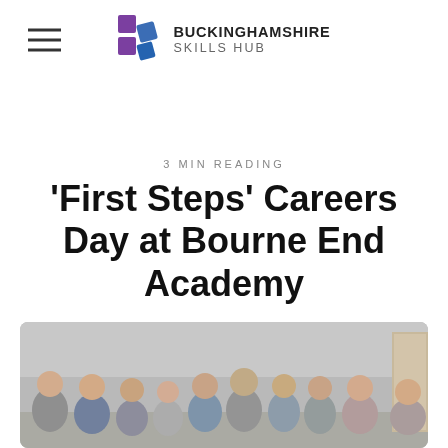Buckinghamshire Skills Hub
3 MIN READING
'First Steps' Careers Day at Bourne End Academy
[Figure (photo): Group photo of approximately 10 people standing together in a room, smiling at the camera]